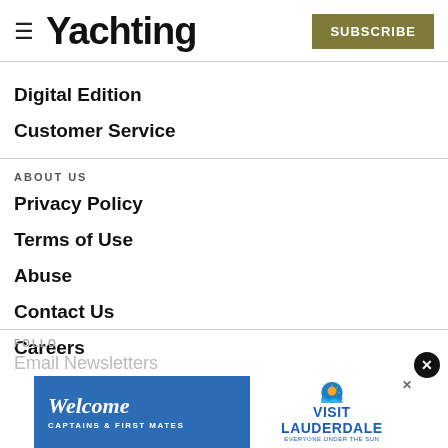Yachting — SUBSCRIBE
Digital Edition
Customer Service
ABOUT US
Privacy Policy
Terms of Use
Abuse
Contact Us
Careers
FOLLOW
Email Newsletters
[Figure (infographic): Advertisement banner: 'Welcome Captains & First Mates' on blue background with Visit Lauderdale logo and sun graphic on white background. X close button in top right corner.]